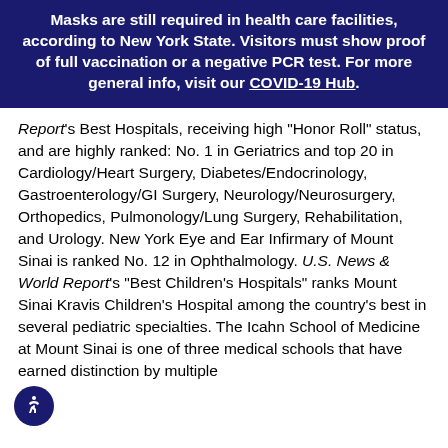Masks are still required in health care facilities, according to New York State. Visitors must show proof of full vaccination or a negative PCR test. For more general info, visit our COVID-19 Hub.
Report's Best Hospitals, receiving high "Honor Roll" status, and are highly ranked: No. 1 in Geriatrics and top 20 in Cardiology/Heart Surgery, Diabetes/Endocrinology, Gastroenterology/GI Surgery, Neurology/Neurosurgery, Orthopedics, Pulmonology/Lung Surgery, Rehabilitation, and Urology. New York Eye and Ear Infirmary of Mount Sinai is ranked No. 12 in Ophthalmology. U.S. News & World Report's "Best Children's Hospitals" ranks Mount Sinai Kravis Children's Hospital among the country's best in several pediatric specialties. The Icahn School of Medicine at Mount Sinai is one of three medical schools that have earned distinction by multiple